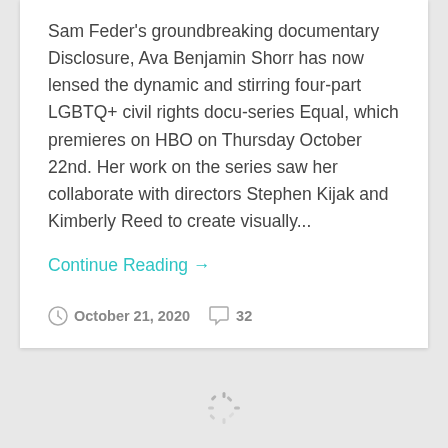Sam Feder's groundbreaking documentary Disclosure, Ava Benjamin Shorr has now lensed the dynamic and stirring four-part LGBTQ+ civil rights docu-series Equal, which premieres on HBO on Thursday October 22nd. Her work on the series saw her collaborate with directors Stephen Kijak and Kimberly Reed to create visually...
Continue Reading →
October 21, 2020   32